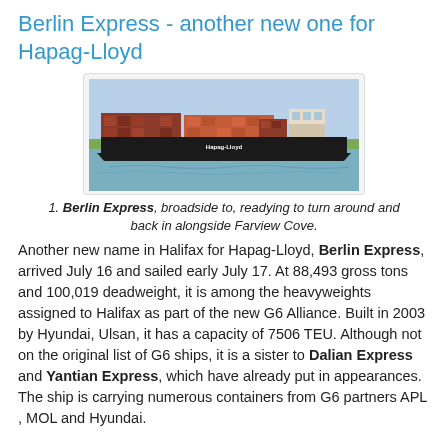Berlin Express - another new one for Hapag-Lloyd
[Figure (photo): Container ship Berlin Express with Hapag-Lloyd branding, broadside view on water with green shoreline in background]
1. Berlin Express, broadside to, readying to turn around and back in alongside Farview Cove.
Another new name in Halifax for Hapag-Lloyd, Berlin Express, arrived July 16 and sailed early July 17. At 88,493 gross tons and 100,019 deadweight, it is among the heavyweights assigned to Halifax as part of the new G6 Alliance. Built in 2003 by Hyundai, Ulsan, it has a capacity of 7506 TEU. Although not on the original list of G6 ships, it is a sister to Dalian Express and Yantian Express, which have already put in appearances. The ship is carrying numerous containers from G6 partners APL , MOL and Hyundai.